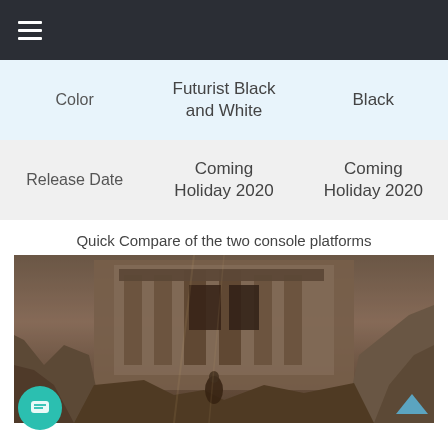≡ (hamburger menu)
|  | Futurist Black and White | Black |
| --- | --- | --- |
| Color | Futurist Black and White | Black |
| Release Date | Coming Holiday 2020 | Coming Holiday 2020 |
Quick Compare of the two console platforms
[Figure (photo): A video game screenshot showing a figure standing amid ancient ruins carved into rocky cliffs, with dramatic atmospheric lighting in warm brown tones.]